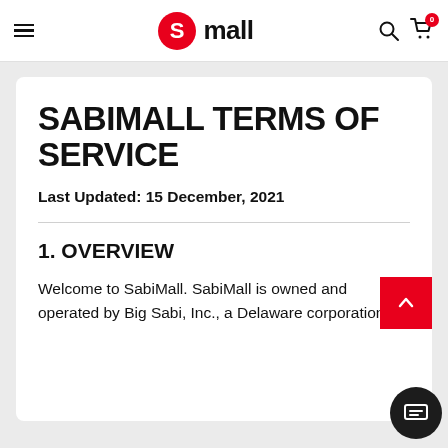[Figure (logo): SabiMall logo in website header: red circle with white S icon, followed by bold text 'mall']
SABIMALL TERMS OF SERVICE
Last Updated: 15 December, 2021
1. OVERVIEW
Welcome to SabiMall. SabiMall is owned and operated by Big Sabi, Inc., a Delaware corporation.